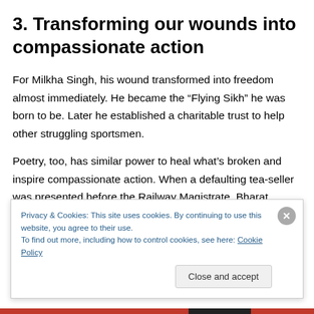3. Transforming our wounds into compassionate action
For Milkha Singh, his wound transformed into freedom almost immediately. He became the “Flying Sikh” he was born to be. Later he established a charitable trust to help other struggling sportsmen.
Poetry, too, has similar power to heal what’s broken and inspire compassionate action. When a defaulting tea-seller was presented before the Railway Magistrate, Bharat
Privacy & Cookies: This site uses cookies. By continuing to use this website, you agree to their use.
To find out more, including how to control cookies, see here: Cookie Policy
Close and accept